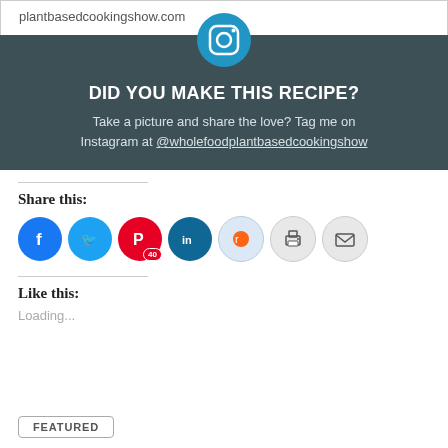plantbasedcookingshow.com
[Figure (illustration): Dark teal banner with Instagram camera icon at top center, heading 'DID YOU MAKE THIS RECIPE?', subtext 'Take a picture and share the love? Tag me on Instagram at @wholefoodplantbasedcookingshow']
Share this:
[Figure (infographic): Row of social sharing icon circles: Facebook (blue), Twitter (blue), Pinterest (red with badge '40'), LinkedIn (dark blue), Reddit (light blue), Print (gray), Email (gray)]
Like this:
Loading...
FEATURED